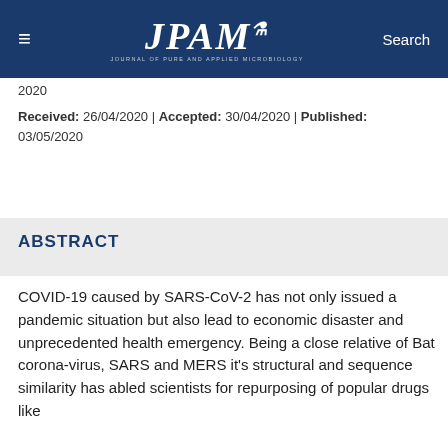≡  JPAM  Search
2020
Received: 26/04/2020 | Accepted: 30/04/2020 | Published: 03/05/2020
ABSTRACT
COVID-19 caused by SARS-CoV-2 has not only issued a pandemic situation but also lead to economic disaster and unprecedented health emergency. Being a close relative of Bat corona-virus, SARS and MERS it's structural and sequence similarity has abled scientists for repurposing of popular drugs like